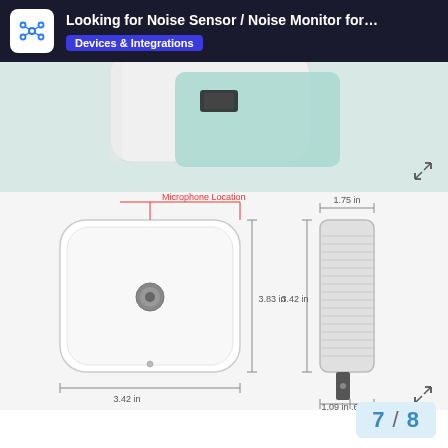Looking for Noise Sensor / Noise Monitor for… | Devices & Integrations
[Figure (photo): Close-up photo of a white smart plug-style device with a USB port, shown from above/side angle with a teal/light blue backing]
[Figure (engineering-diagram): Technical engineering diagram of a noise sensor device showing front view (3.42 in wide x 3.83 in tall, with microphone location labeled) and side view (1.75 in wide x 3.42 in tall, with sub-dimensions 1.09 in and .66 in at base) with dimension lines and annotations]